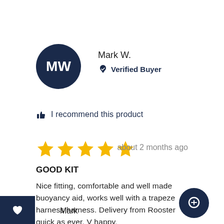[Figure (illustration): Dark navy circle avatar with white initials MW]
Mark W.
Verified Buyer
I recommend this product
[Figure (illustration): Five gold star rating]
about 2 months ago
GOOD KIT
Nice fitting, comfortable and well made buoyancy aid, works well with a trapeze harness harness. Delivery from Rooster quick as ever. V happy,
Mark